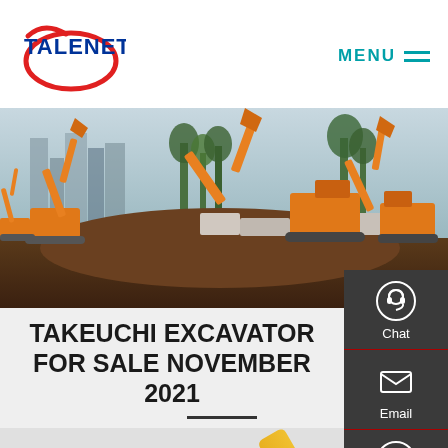TALENET | MENU
[Figure (photo): Multiple orange excavators working on a large construction site with city buildings visible in the background]
TAKEUCHI EXCAVATOR FOR SALE NOVEMBER 2021
[Figure (photo): Yellow excavator arm and cab partially visible at the bottom of the page]